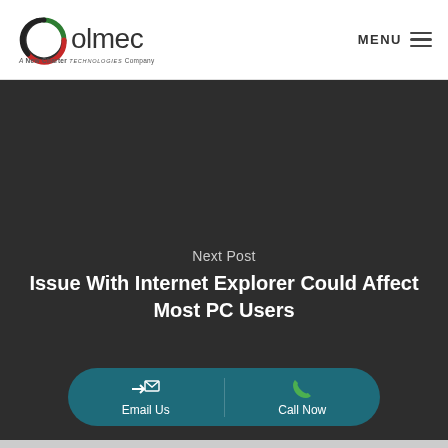[Figure (logo): Olmec logo with circular green/red/dark ring icon, text 'olmec', tagline 'A New Charter Technologies Company']
MENU
Next Post
Issue With Internet Explorer Could Affect Most PC Users
Email Us
Call Now